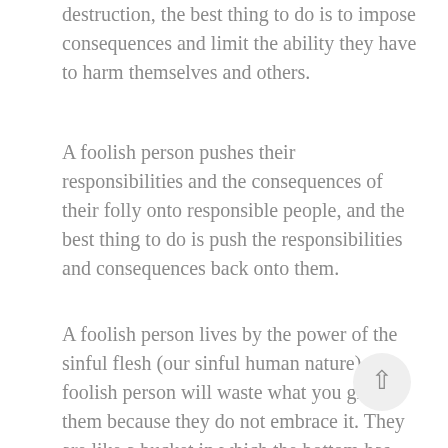destruction, the best thing to do is to impose consequences and limit the ability they have to harm themselves and others.
A foolish person pushes their responsibilities and the consequences of their folly onto responsible people, and the best thing to do is push the responsibilities and consequences back onto them.
A foolish person lives by the power of the sinful flesh (our sinful human nature). A foolish person will waste what you give them because they do not embrace it. They are like a bucket in which the bottom has rusted out; anything you pour into it just spills onto the ground. Peter started out as Jesus' most foolish disciple. Jesus helped